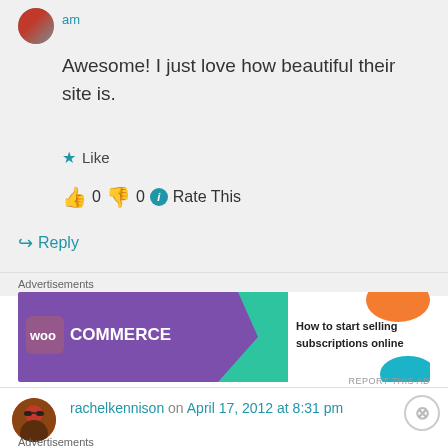[Figure (photo): Small circular avatar photo of a person, top left of comment]
am
Awesome! I just love how beautiful their site is.
★ Like
👍 0 👎 0 ℹ Rate This
↪ Reply
Advertisements
[Figure (screenshot): WooCommerce advertisement banner: purple background with WooCommerce logo, green arrow, and text 'How to start selling subscriptions online' with orange and teal decorative shapes]
REPORT THIS AD
rachelkennison on April 17, 2012 at 8:31 pm
Advertisements
[Figure (screenshot): DuckDuckGo advertisement banner: orange background with text 'Search, browse, and email with more privacy. All in One Free App' and DuckDuckGo logo on dark right side]